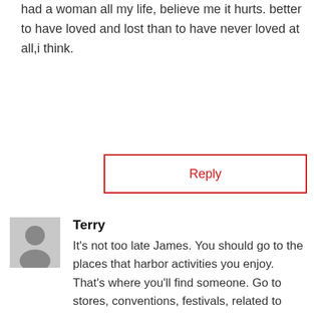had a woman all my life, believe me it hurts. better to have loved and lost than to have never loved at all,i think.
Reply
Terry
It's not too late James. You should go to the places that harbor activities you enjoy. That's where you'll find someone. Go to stores, conventions, festivals, related to things you find happiness in.